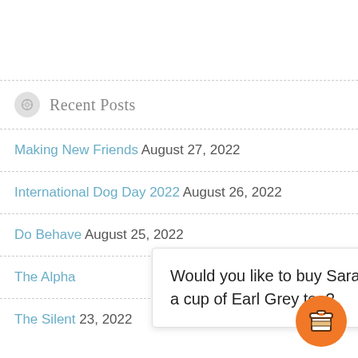Recent Posts
Making New Friends August 27, 2022
International Dog Day 2022 August 26, 2022
Do Behave August 25, 2022
The Alph…
The Silent… 23, 2022
Would you like to buy Sara a cup of Earl Grey tea?
[Figure (illustration): Orange circular coffee cup button icon]